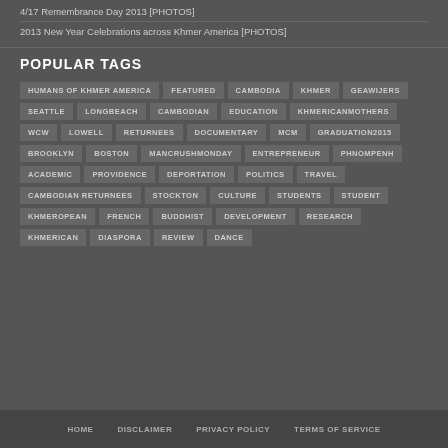4/17 Remembrance Day 2013 [PHOTOS]
2013 New Year Celebrations across Khmer America [PHOTOS]
POPULAR TAGS
HUMANS OF KHMER AMERICA
FEATURED
CAMBODIA
KHMER
GEAWIJERS
SEATTLE
LONGBEACH
CAMBODIAN
EDUCATION
KHMERICANMOTHERS
WCW
LOWELL
RETURNEES
DOCUMENTARY
MCM
GRADUATION2015
BROOKLYN
BOSTON
MANCRUSHMONDAY
ENTREPRENEUR
PHNOMPENH
ACADEMIC
PROVIDENCE
DEPORTATION
POLITICS
TRAVEL
CAMBODIAN RETURNEES
STOCKTON
CULTURE
STUDENTS
STUDENT
KHMEROPEAN
FRENCH
BUDDHIST
DEVELOPMENT
RESEARCH
KHMERICAN
DIASPORA
REVIEW
DANCE
HOME   DISCLAIMER   PRIVACY POLICY   TERMS OF SERVICE